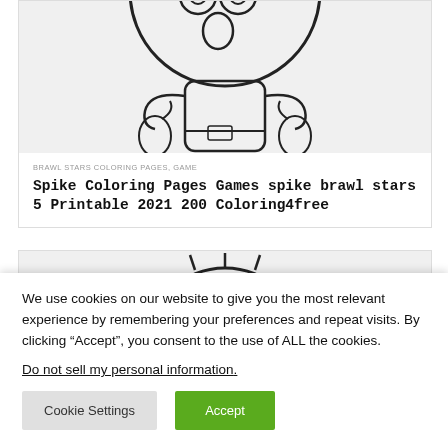[Figure (illustration): Brawl Stars cartoon character coloring page line drawing - character with round head giving thumbs up, shown from chest up]
BRAWL STARS COLORING PAGES, GAME
Spike Coloring Pages Games spike brawl stars 5 Printable 2021 200 Coloring4free
[Figure (illustration): Brawl Stars cartoon character coloring page - round-headed character face visible at top of card]
We use cookies on our website to give you the most relevant experience by remembering your preferences and repeat visits. By clicking “Accept”, you consent to the use of ALL the cookies.
Do not sell my personal information.
Cookie Settings
Accept